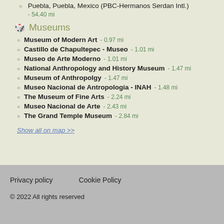Puebla, Puebla, Mexico (PBC-Hermanos Serdan Intl.) - 54.40 mi
Museums
Museum of Modern Art - 0.97 mi
Castillo de Chapultepec - Museo - 1.01 mi
Museo de Arte Moderno - 1.01 mi
National Anthropology and History Museum - 1.47 mi
Museum of Anthropolgy - 1.47 mi
Museo Nacional de Antropologia - INAH - 1.48 mi
The Museum of Fine Arts - 2.24 mi
Museo Nacional de Arte - 2.43 mi
The Grand Temple Museum - 2.84 mi
Show all on map >>
Privacy policy   Cookie Policy
© 2022 All rights reserved